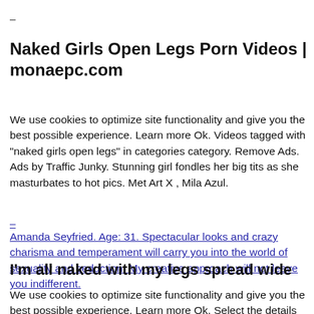–
Naked Girls Open Legs Porn Videos | monaepc.com
We use cookies to optimize site functionality and give you the best possible experience. Learn more Ok. Videos tagged with "naked girls open legs" in categories category. Remove Ads. Ads by Traffic Junky. Stunning girl fondles her big tits as she masturbates to hot pics. Met Art X , Mila Azul.
–
Amanda Seyfried. Age: 31. Spectacular looks and crazy charisma and temperament will carry you into the world of sexuality and seduction. My creative approach will not leave you indifferent.
I'm all naked with my legs spread wide
We use cookies to optimize site functionality and give you the best possible experience. Learn more Ok. Select the details below that best describe this video. We appreciate your assistance and will use this information to improve our service to you.